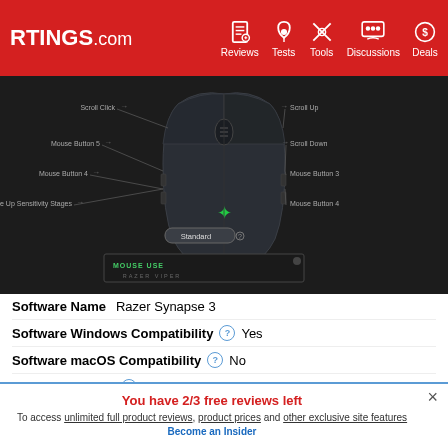RTINGS.com | Reviews | Tests | Tools | Discussions | Deals
[Figure (screenshot): Screenshot of Razer Synapse 3 software showing button mapping interface for Razer Viper mouse with labels for Scroll Click, Mouse Button 5, Mouse Button 4, Cycle Up Sensitivity Stages, Scroll Up, Scroll Down, Mouse Button 3, Mouse Button 4, and a Standard mode button at bottom.]
Software Name   Razer Synapse 3
Software Windows Compatibility   Yes
Software macOS Compatibility   No
Account Needed   No
You have 2/3 free reviews left
To access unlimited full product reviews, product prices and other exclusive site features Become an Insider